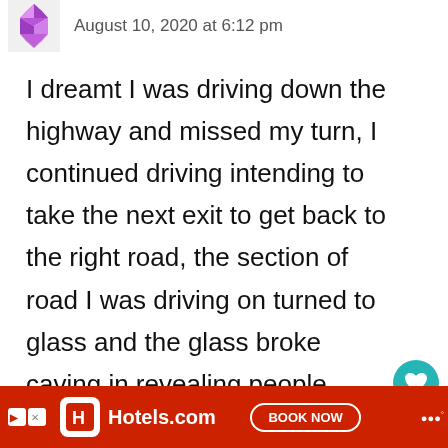[Figure (illustration): Purple geometric/diamond avatar icon]
August 10, 2020 at 6:12 pm
I dreamt I was driving down the highway and missed my turn, I continued driving intending to take the next exit to get back to the right road, the section of road I was driving on turned to glass and the glass broke caving in revealing people living in an apartment below the road. I yelled sorry and continue As I drove the road continued to turn to glass a...
[Figure (other): Teal heart button UI overlay with count 74 and share button]
Hotels.com  BOOK NOW  advertisement footer